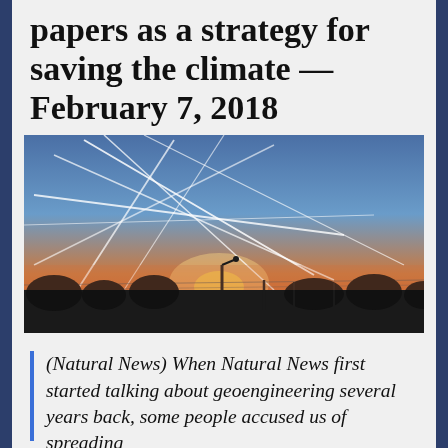papers as a strategy for saving the climate — February 7, 2018
[Figure (photo): Sunset sky with multiple contrails/chemtrails criss-crossing the blue sky, with silhouetted trees and street lights along the horizon. Orange and pink sunset colors near the horizon.]
(Natural News) When Natural News first started talking about geoengineering several years back, some people accused us of spreading